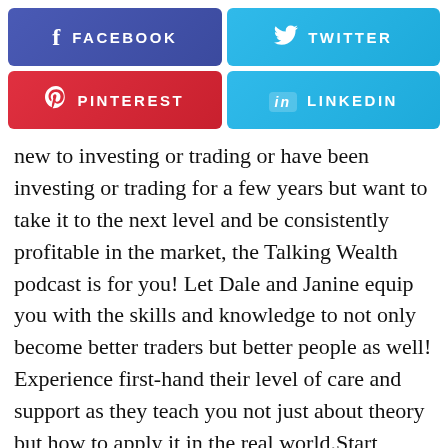[Figure (infographic): Social media share buttons: Facebook (blue-purple), Twitter (sky blue), Pinterest (red), LinkedIn (sky blue), arranged in a 2x2 grid]
new to investing or trading or have been investing or trading for a few years but want to take it to the next level and be consistently profitable in the market, the Talking Wealth podcast is for you! Let Dale and Janine equip you with the skills and knowledge to not only become better traders but better people as well! Experience first-hand their level of care and support as they teach you not just about theory but how to apply it in the real world.Start making some good money straight away to achieve what you want. Join the Wealth Within family by tuning in every week with Dale Gillham and Janine Cox here on the Talking